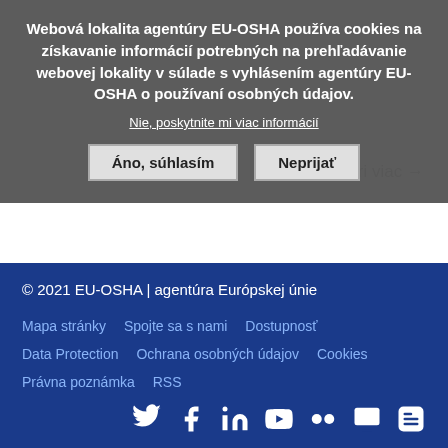Webová lokalita agentúry EU-OSHA používa cookies na získavanie informácií potrebných na prehľadávanie webovej lokality v súlade s vyhlásením agentúry EU-OSHA o používaní osobných údajov.
Nie, poskytnite mi viac informácií
Áno, súhlasím
Neprijať
Pozri viac →
1  2  3  ›  »
© 2021 EU-OSHA | agentúra Európskej únie
Mapa stránky   Spojte sa s nami   Dostupnosť
Data Protection   Ochrana osobných údajov   Cookies
Právna poznámka   RSS